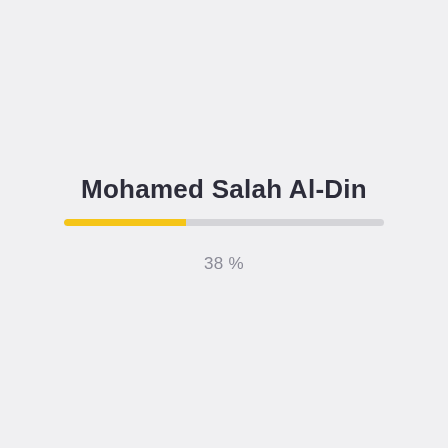Mohamed Salah Al-Din
[Figure (other): A horizontal progress bar showing 38% completion. The filled portion is yellow/gold and the remaining portion is light gray.]
38 %